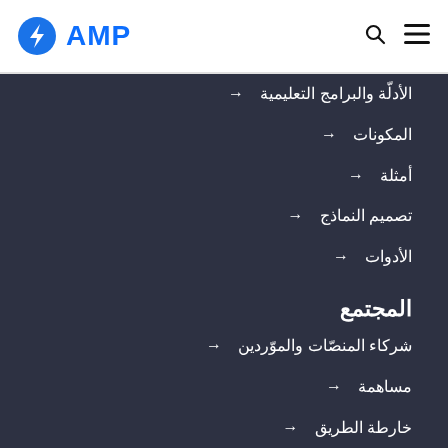AMP
الأدلّة والبرامج التعليمية
المكونات
أمثلة
تصميم النماذج
الأدوات
المجتمع
شركاء المنصّات والموّردين
مساهمة
خارطة الطريق
OpenJS Foundation
The OpenJS Foundation
OpenJS Foundation Bylaws